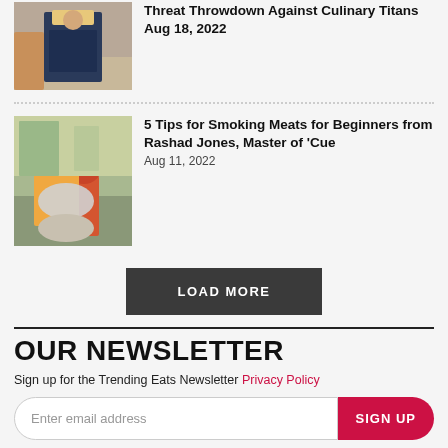[Figure (photo): Man in suit in restaurant setting]
Threat Throwdown Against Culinary Titans Aug 18, 2022
[Figure (photo): Man in red shirt cooking outdoors with large metal pot]
5 Tips for Smoking Meats for Beginners from Rashad Jones, Master of 'Cue Aug 11, 2022
LOAD MORE
OUR NEWSLETTER
Sign up for the Trending Eats Newsletter Privacy Policy
Enter email address
SIGN UP